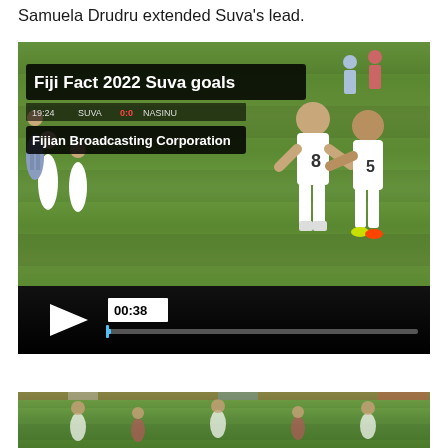Samuela Drudru extended Suva's lead.
[Figure (screenshot): Video player showing a football match from Fiji Fact 2022 Suva goals. Players in white and dark kit on a green pitch. Overlay shows title 'Fiji Fact 2022 Suva goals', score bar 'SUVA 0:0', and 'Fijian Broadcasting Corporation' branding. Video controls show play button and timestamp 00:38.]
[Figure (screenshot): Bottom strip of a second video thumbnail showing a football match on a green grass pitch with players visible.]